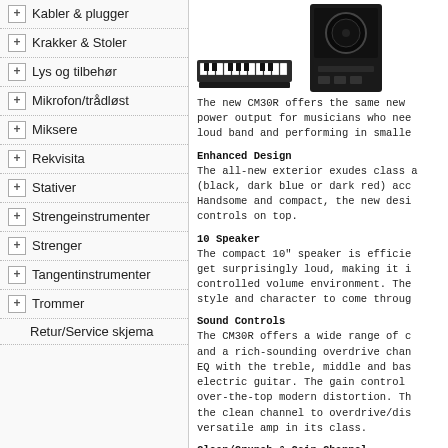+ Kabler & plugger
+ Krakker & Stoler
+ Lys og tilbehør
+ Mikrofon/trådløst
+ Miksere
+ Rekvisita
+ Stativer
+ Strengeinstrumenter
+ Strenger
+ Tangentinstrumenter
+ Trommer
Retur/Service skjema
[Figure (photo): Product images: a keyboard/MIDI controller and a black guitar amplifier (CM30R)]
The new CM30R offers the same new power output for musicians who need loud band and performing in smaller
Enhanced Design
The all-new exterior exudes class a (black, dark blue or dark red) acco Handsome and compact, the new desi controls on top.
10 Speaker
The compact 10" speaker is efficie get surprisingly loud, making it i controlled volume environment. The style and character to come through
Sound Controls
The CM30R offers a wide range of c and a rich-sounding overdrive chan EQ with the treble, middle and bas electric guitar. The gain control over-the-top modern distortion. Th the clean channel to overdrive/dis versatile amp in its class.
Clean/Crunch & Gain Channel
Besides the new exterior, Cort's e circuits to improve the sound qual tones without adding more knobs an warm and sparkling vintage clean a instantly while being sensitive to